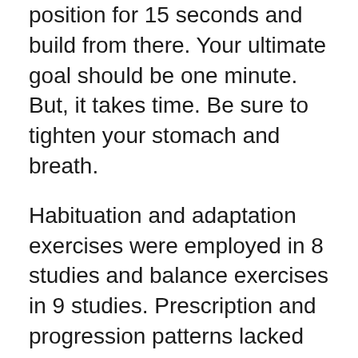position for 15 seconds and build from there. Your ultimate goal should be one minute. But, it takes time. Be sure to tighten your stomach and breath.
Habituation and adaptation exercises were employed in 8 studies and balance exercises in 9 studies. Prescription and progression patterns lacked standardisation. Conclusions Current evidence for optimal prescription and efficacy of VRT in patients with mTBI/concussion is limited. Available evidence, although weak, shows promise in this population. Further high-level studies evaluating the Hey, that is a good segue to this months great balance and coordination exercise for